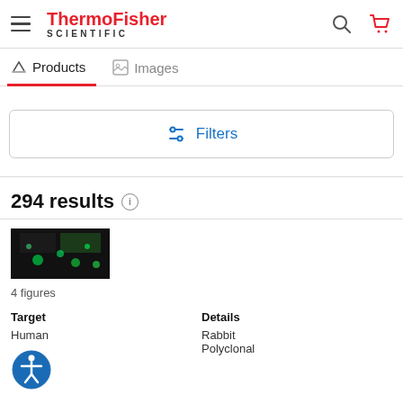ThermoFisher SCIENTIFIC — navigation header with hamburger menu, logo, search icon, and cart icon
Products | Images — tab navigation
Filters button
294 results
[Figure (photo): Thumbnail fluorescence microscopy image (dark background with green/teal spots)]
4 figures
Target: Human | Details: Rabbit, Polyclonal